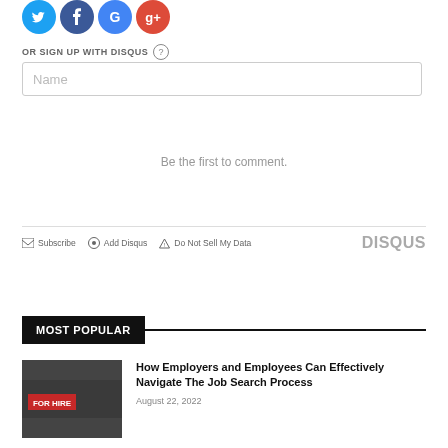[Figure (logo): Social media login icons: Twitter (blue bird), Facebook (blue), Google (blue/red circle), Google+ (red)]
OR SIGN UP WITH DISQUS ?
[Figure (screenshot): Name input text field placeholder]
Be the first to comment.
Subscribe  Add Disqus  Do Not Sell My Data  DISQUS
MOST POPULAR
[Figure (photo): Thumbnail image of a FOR HIRE sign in red]
How Employers and Employees Can Effectively Navigate The Job Search Process
August 22, 2022